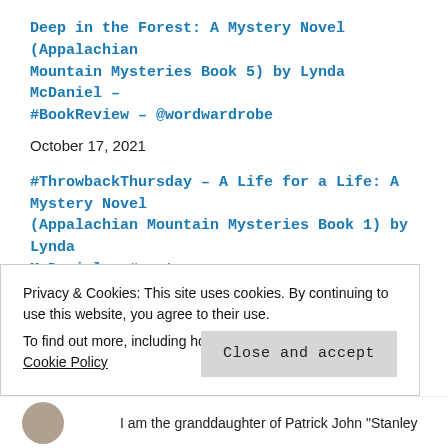Deep in the Forest: A Mystery Novel (Appalachian Mountain Mysteries Book 5) by Lynda McDaniel – #BookReview – @wordwardrobe
October 17, 2021
#ThrowbackThursday – A Life for a Life: A Mystery Novel (Appalachian Mountain Mysteries Book 1) by Lynda McDaniel – #mystery
July 9, 2020
Murder Ballad Blues: A Mystery (Appalachian Mountain Mysteries Book 4) by Lynda McDaniel – a #BookReview #thriller #tuesdaybookblog
Privacy & Cookies: This site uses cookies. By continuing to use this website, you agree to their use.
To find out more, including how to control cookies, see here: Cookie Policy
Close and accept
I am the granddaughter of Patrick John "Stanley